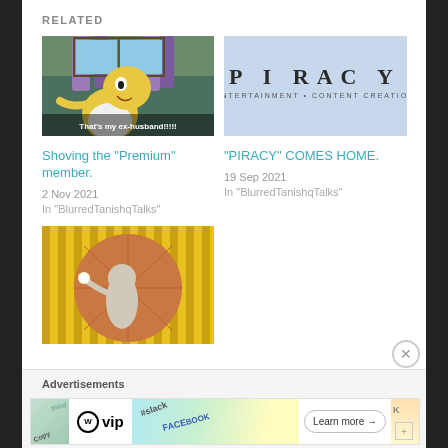RELATED
[Figure (screenshot): Homer Simpson from animated TV show, surprised expression, text overlay 'That's my ex-husband!!!!!']
Shoving the "Premium" member.
2 Nov 2021
In "BlurredTanishqTalks"
[Figure (screenshot): Light blue background with text PIRACY in large letters and subtitle text]
"PIRACY" COMES HOME.
19 Sep 2021
In "BlurredTanishqTalks"
[Figure (illustration): Artistic illustration of a cat-like figure against yellow striped and circular orange/brown background]
Advertisements
[Figure (screenshot): WordPress VIP advertisement banner with Learn more arrow button]